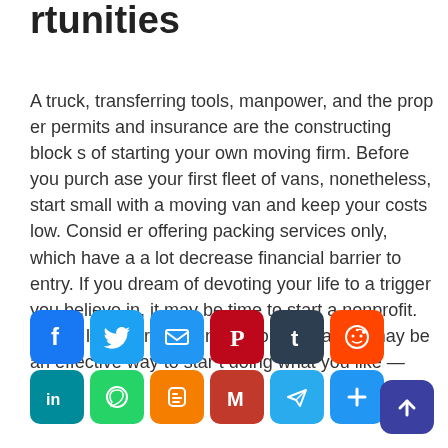rtunities
A truck, transferring tools, manpower, and the proper permits and insurance are the constructing blocks of starting your own moving firm. Before you purchase your first fleet of vans, nonetheless, start small with a moving van and keep your costs low. Consider offering packing services only, which have a a lot decrease financial barrier to entry. If you dream of devoting your life to a trigger you believe in, it may be time to start a nonprofit. With a low barrier to entry, home cleaning may be an effective way to start doing what you like — soon.
[Figure (infographic): Row of social media sharing icon buttons: Facebook (blue), Twitter (blue), Email (blue), Pinterest (dark red), Tumblr (dark navy), Reddit (orange-red), LinkedIn (teal), WhatsApp (green), Blogger (orange); second row: Gmail (red), Telegram (light blue), Share/Plus (blue). Bottom right: back-to-top arrow button (dark blue/indigo).]